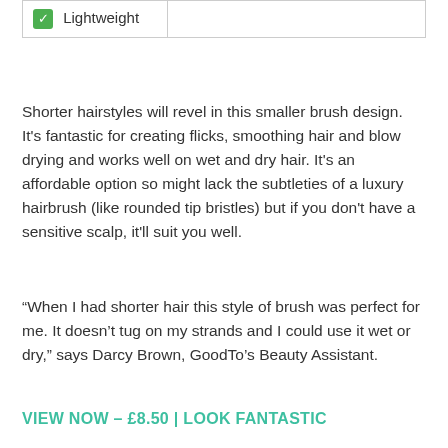| ✅ Lightweight |  |
Shorter hairstyles will revel in this smaller brush design. It's fantastic for creating flicks, smoothing hair and blow drying and works well on wet and dry hair. It's an affordable option so might lack the subtleties of a luxury hairbrush (like rounded tip bristles) but if you don't have a sensitive scalp, it'll suit you well.
“When I had shorter hair this style of brush was perfect for me. It doesn’t tug on my strands and I could use it wet or dry,” says Darcy Brown, GoodTo’s Beauty Assistant.
VIEW NOW – £8.50 | LOOK FANTASTIC